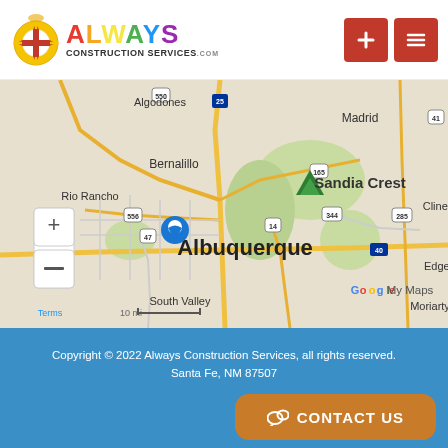[Figure (logo): Always Construction Services logo with zia sun symbol and colorful letters]
[Figure (map): Google My Maps showing Albuquerque, NM area with surrounding cities: Algodones, Bernalillo, Rio Rancho, Sandia Crest, Edgewood, Moriarty, Madrid, South Valley. Blue map pin on Albuquerque. Zoom controls visible. Scale bar showing 10 mi.]
Copyright © 2022 Always Construction Services, all rights reserved.
Santa Fe, NM 87507
[Figure (other): Orange contact us button with chat icon]